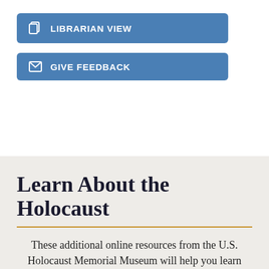[Figure (other): Blue button with librarian/copy icon and text LIBRARIAN VIEW]
[Figure (other): Blue button with envelope icon and text GIVE FEEDBACK]
Learn About the Holocaust
These additional online resources from the U.S. Holocaust Memorial Museum will help you learn more about the